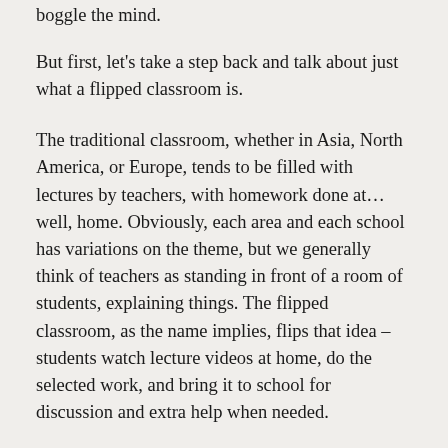boggle the mind.
But first, let's take a step back and talk about just what a flipped classroom is.
The traditional classroom, whether in Asia, North America, or Europe, tends to be filled with lectures by teachers, with homework done at…well, home. Obviously, each area and each school has variations on the theme, but we generally think of teachers as standing in front of a room of students, explaining things. The flipped classroom, as the name implies, flips that idea – students watch lecture videos at home, do the selected work, and bring it to school for discussion and extra help when needed.
Flipped classrooms, as you might imagine, bring some unique challenges though. Teachers have to provide videos to students, and it's also necessary to